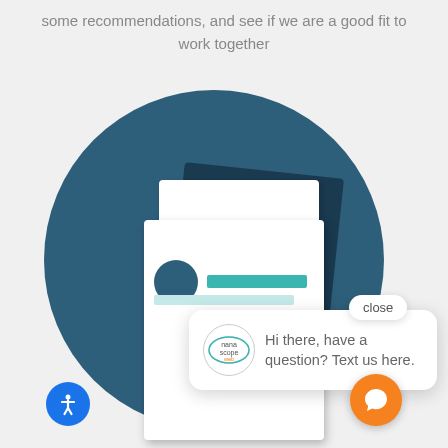some recommendations, and see if we are a good fit to work together
[Figure (illustration): A large dark teal circle with illustrated documents/files stacked inside it, a chat popup bubble showing a logo and the text 'Hi there, have a question? Text us here.', a close button, an orange chat icon button, and an accessibility icon button.]